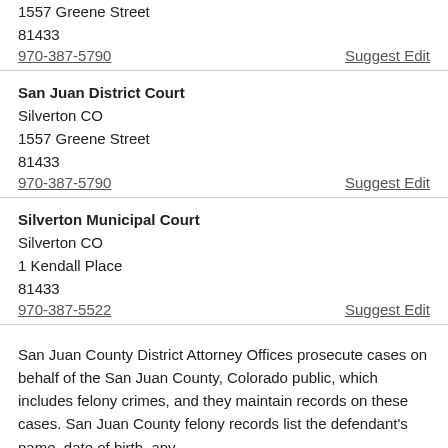1557 Greene Street
81433
970-387-5790
Suggest Edit
San Juan District Court
Silverton CO
1557 Greene Street
81433
970-387-5790
Suggest Edit
Silverton Municipal Court
Silverton CO
1 Kendall Place
81433
970-387-5522
Suggest Edit
San Juan County District Attorney Offices prosecute cases on behalf of the San Juan County, Colorado public, which includes felony crimes, and they maintain records on these cases. San Juan County felony records list the defendant's name, date of birth, any